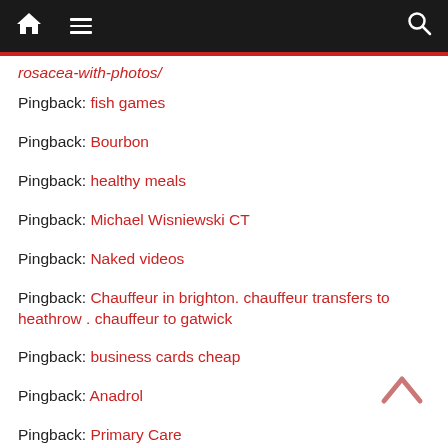Navigation bar with home, menu, and search icons
rosacea-with-photos/
Pingback: fish games
Pingback: Bourbon
Pingback: healthy meals
Pingback: Michael Wisniewski CT
Pingback: Naked videos
Pingback: Chauffeur in brighton. chauffeur transfers to heathrow . chauffeur to gatwick
Pingback: business cards cheap
Pingback: Anadrol
Pingback: Primary Care